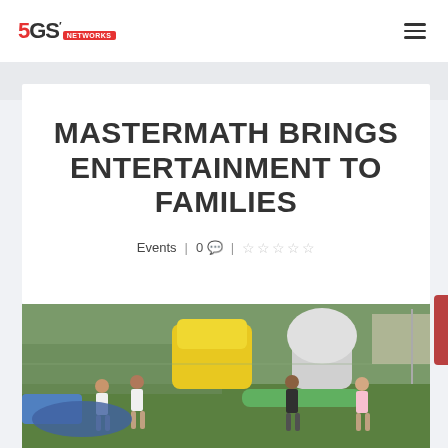5GS | 0 comments | Events
MASTERMATH BRINGS ENTERTAINMENT TO FAMILIES
Events | 0 💬 | ☆☆☆☆☆
[Figure (photo): Children playing outdoors at a community event with inflatable bounce houses and recreational equipment on a grass field.]